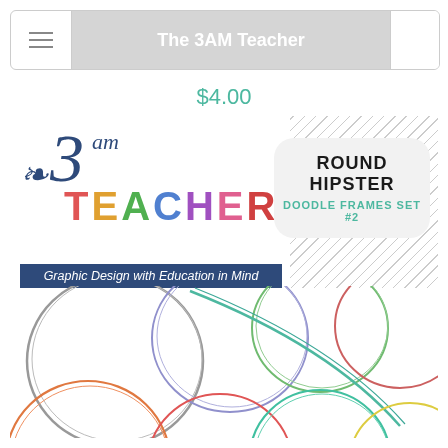The 3AM Teacher
$4.00
[Figure (illustration): Product listing image for 'Round Hipster Doodle Frames Set #2' by The 3AM Teacher. Shows the brand logo on the left with colorful TEACHER letters, a tagline 'Graphic Design with Education in Mind' on a navy banner, and a rounded badge on the right reading 'ROUND HIPSTER DOODLE FRAMES SET #2'. Below are multiple doodle circle frames in various colors: gray, purple, blue-green/teal, green, lavender, red, teal, orange, coral, and yellow on a white background with hatched pattern.]